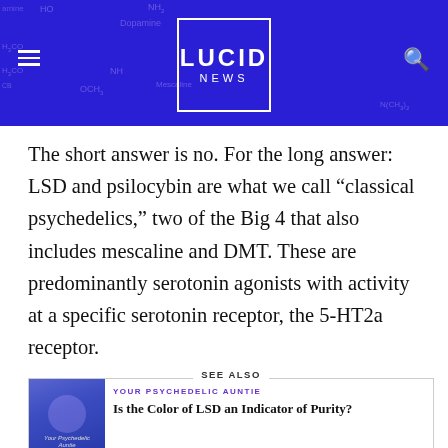[Figure (other): Lucid News website header with dark blue/purple background showing chemical molecular structure diagrams (Dopamine, Mescaline, Amphetamine, 2-CB labels visible), centered white-bordered logo box with 'LUCID NEWS' text, hamburger menu icon on left, search icon on right]
The short answer is no. For the long answer: LSD and psilocybin are what we call “classical psychedelics,” two of the Big 4 that also includes mescaline and DMT. These are predominantly serotonin agonists with activity at a specific serotonin receptor, the 5-HT2a receptor.
[Figure (other): SEE ALSO card with thumbnail image of 'Your Psychedelic Auntie' podcast/column art, category label 'YOUR PSYCHEDELIC AUNTIE' in purple, and article title 'Is the Color of LSD an Indicator of Purity?']